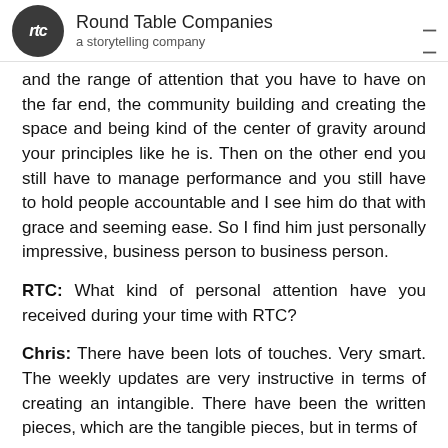Round Table Companies — a storytelling company
and the range of attention that you have to have on the far end, the community building and creating the space and being kind of the center of gravity around your principles like he is. Then on the other end you still have to manage performance and you still have to hold people accountable and I see him do that with grace and seeming ease. So I find him just personally impressive, business person to business person.
RTC: What kind of personal attention have you received during your time with RTC?
Chris: There have been lots of touches. Very smart. The weekly updates are very instructive in terms of creating an intangible. There have been the written pieces, which are the tangible pieces, but in terms of